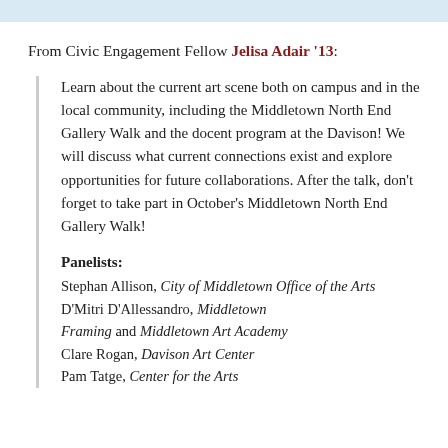From Civic Engagement Fellow Jelisa Adair '13:
Learn about the current art scene both on campus and in the local community, including the Middletown North End Gallery Walk and the docent program at the Davison! We will discuss what current connections exist and explore opportunities for future collaborations. After the talk, don't forget to take part in October's Middletown North End Gallery Walk!
Panelists: Stephan Allison, City of Middletown Office of the Arts; D'Mitri D'Allessandro, Middletown Framing and Middletown Art Academy; Clare Rogan, Davison Art Center; Pam Tatge, Center for the Arts